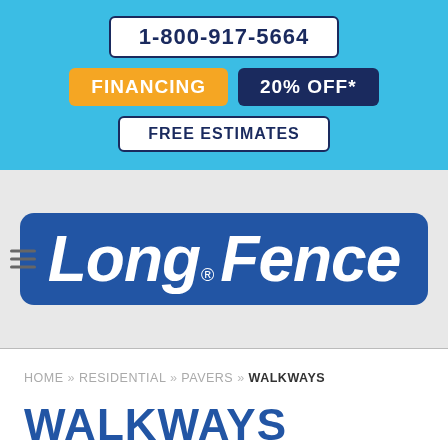1-800-917-5664
FINANCING
20% OFF*
FREE ESTIMATES
[Figure (logo): Long Fence logo — white italic text on blue rounded rectangle background]
HOME » RESIDENTIAL » PAVERS » WALKWAYS
WALKWAYS